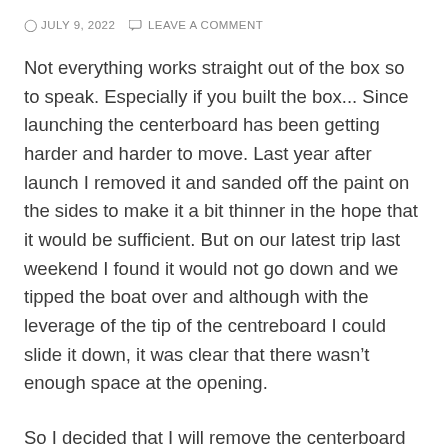JULY 9, 2022   LEAVE A COMMENT
Not everything works straight out of the box so to speak. Especially if you built the box... Since launching the centerboard has been getting harder and harder to move. Last year after launch I removed it and sanded off the paint on the sides to make it a bit thinner in the hope that it would be sufficient. But on our latest trip last weekend I found it would not go down and we tipped the boat over and although with the leverage of the tip of the centreboard I could slide it down, it was clear that there wasn't enough space at the opening.
So I decided that I will remove the centerboard and tip the boat over to find a way of filing the centerboard slot a little wider.